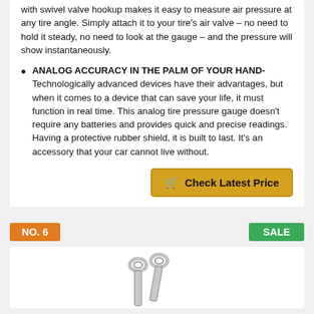with swivel valve hookup makes it easy to measure air pressure at any tire angle. Simply attach it to your tire's air valve – no need to hold it steady, no need to look at the gauge – and the pressure will show instantaneously.
ANALOG ACCURACY IN THE PALM OF YOUR HAND- Technologically advanced devices have their advantages, but when it comes to a device that can save your life, it must function in real time. This analog tire pressure gauge doesn't require any batteries and provides quick and precise readings. Having a protective rubber shield, it is built to last. It's an accessory that your car cannot live without.
Check Latest Price
NO. 6
SALE
[Figure (photo): Metal wrench or tire gauge tool shown at bottom of page]